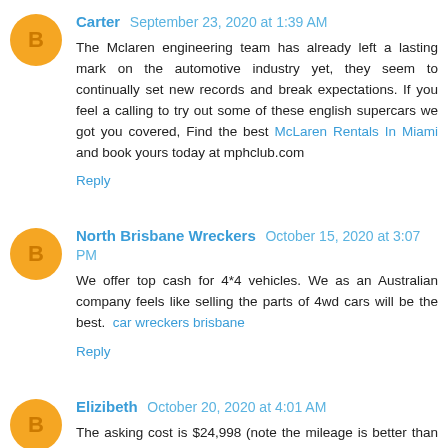Carter  September 23, 2020 at 1:39 AM
The Mclaren engineering team has already left a lasting mark on the automotive industry yet, they seem to continually set new records and break expectations. If you feel a calling to try out some of these english supercars we got you covered, Find the best McLaren Rentals In Miami and book yours today at mphclub.com
Reply
North Brisbane Wreckers  October 15, 2020 at 3:07 PM
We offer top cash for 4*4 vehicles. We as an Australian company feels like selling the parts of 4wd cars will be the best.  car wreckers brisbane
Reply
Elizibeth  October 20, 2020 at 4:01 AM
The asking cost is $24,998 (note the mileage is better than expected however the asking cost is very high comparative